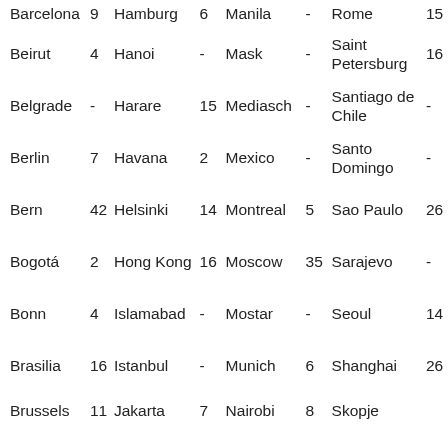| City | # | City | # | City | # | City | # |
| --- | --- | --- | --- | --- | --- | --- | --- |
| Barcelona | 9 | Hamburg | 6 | Manila | - | Rome | 15 |
| Beirut | 4 | Hanoi | - | Mask | - | Saint Petersburg | 16 |
| Belgrade | - | Harare | 15 | Mediasch | - | Santiago de Chile | - |
| Berlin | 7 | Havana | 2 | Mexico | - | Santo Domingo | - |
| Bern | 42 | Helsinki | 14 | Montreal | 5 | Sao Paulo | 26 |
| Bogotá | 2 | Hong Kong | 16 | Moscow | 35 | Sarajevo | - |
| Bonn | 4 | Islamabad | - | Mostar | - | Seoul | 14 |
| Brasilia | 16 | Istanbul | - | Munich | 6 | Shanghai | 26 |
| Brussels | 11 | Jakarta | 7 | Nairobi | 8 | Skopje |  |